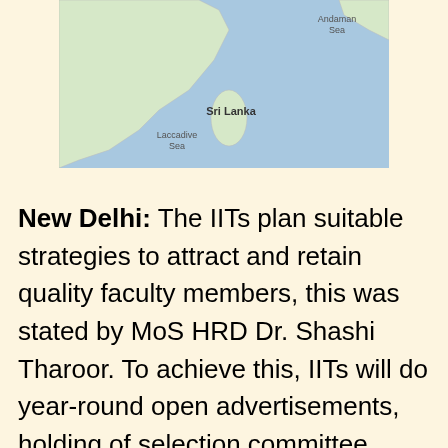[Figure (map): Map showing Sri Lanka, Andaman Sea, and Laccadive Sea region]
New Delhi: The IITs plan suitable strategies to attract and retain quality faculty members, this was stated by MoS HRD Dr. Shashi Tharoor. To achieve this, IITs will do year-round open advertisements, holding of selection committee meetings through video conferencing, invitation to alumni, scientists, faculty from India and abroad to reach out to potential candidates, advertisements in international